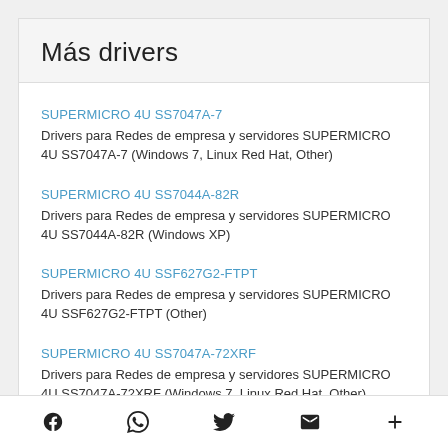Más drivers
SUPERMICRO 4U SS7047A-7
Drivers para Redes de empresa y servidores SUPERMICRO 4U SS7047A-7 (Windows 7, Linux Red Hat, Other)
SUPERMICRO 4U SS7044A-82R
Drivers para Redes de empresa y servidores SUPERMICRO 4U SS7044A-82R (Windows XP)
SUPERMICRO 4U SSF627G2-FTPT
Drivers para Redes de empresa y servidores SUPERMICRO 4U SSF627G2-FTPT (Other)
SUPERMICRO 4U SS7047A-72XRF
Drivers para Redes de empresa y servidores SUPERMICRO 4U SS7047A-72XRF (Windows 7, Linux Red Hat, Other)
f [whatsapp] [twitter] [email] +